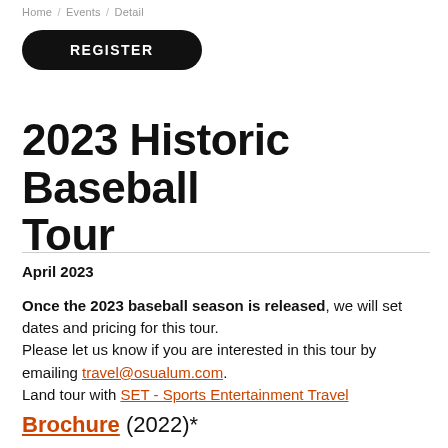Home / Events / Detail
[Figure (other): Black pill-shaped REGISTER button]
2023 Historic Baseball Tour
April 2023
Once the 2023 baseball season is released, we will set dates and pricing for this tour.
Please let us know if you are interested in this tour by emailing travel@osualum.com.
Land tour with SET - Sports Entertainment Travel
Brochure (2022)*